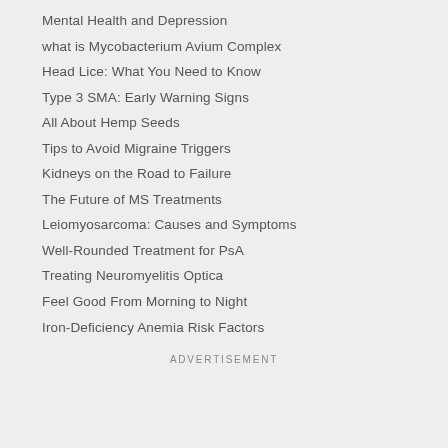Mental Health and Depression
what is Mycobacterium Avium Complex
Head Lice: What You Need to Know
Type 3 SMA: Early Warning Signs
All About Hemp Seeds
Tips to Avoid Migraine Triggers
Kidneys on the Road to Failure
The Future of MS Treatments
Leiomyosarcoma: Causes and Symptoms
Well-Rounded Treatment for PsA
Treating Neuromyelitis Optica
Feel Good From Morning to Night
Iron-Deficiency Anemia Risk Factors
ADVERTISEMENT